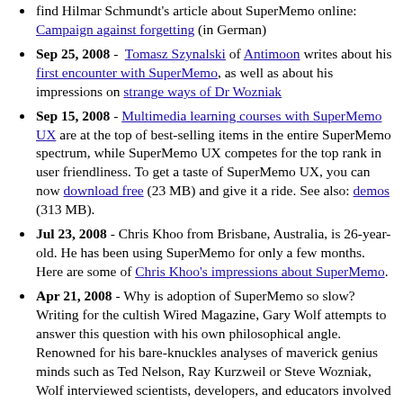find Hilmar Schmundt's article about SuperMemo online: Campaign against forgetting (in German)
Sep 25, 2008 - Tomasz Szynalski of Antimoon writes about his first encounter with SuperMemo, as well as about his impressions on strange ways of Dr Wozniak
Sep 15, 2008 - Multimedia learning courses with SuperMemo UX are at the top of best-selling items in the entire SuperMemo spectrum, while SuperMemo UX competes for the top rank in user friendliness. To get a taste of SuperMemo UX, you can now download free (23 MB) and give it a ride. See also: demos (313 MB).
Jul 23, 2008 - Chris Khoo from Brisbane, Australia, is 26-year-old. He has been using SuperMemo for only a few months. Here are some of Chris Khoo's impressions about SuperMemo.
Apr 21, 2008 - Why is adoption of SuperMemo so slow? Writing for the cultish Wired Magazine, Gary Wolf attempts to answer this question with his own philosophical angle. Renowned for his bare-knuckles analyses of maverick genius minds such as Ted Nelson, Ray Kurzweil or Steve Wozniak, Wolf interviewed scientists, developers, and educators involved in theoretical and practical aspects of memory and learning. Then he focused on people who made SuperMemo happen: Dr Wozniak, Krzysztof Biedalak, Dr Janusz Murakowski and more. Read: Surrender to this